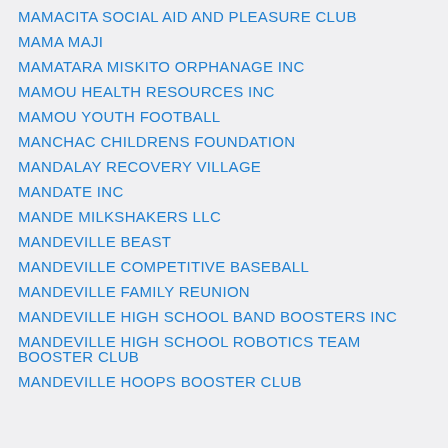MAMACITA SOCIAL AID AND PLEASURE CLUB
MAMA MAJI
MAMATARA MISKITO ORPHANAGE INC
MAMOU HEALTH RESOURCES INC
MAMOU YOUTH FOOTBALL
MANCHAC CHILDRENS FOUNDATION
MANDALAY RECOVERY VILLAGE
MANDATE INC
MANDE MILKSHAKERS LLC
MANDEVILLE BEAST
MANDEVILLE COMPETITIVE BASEBALL
MANDEVILLE FAMILY REUNION
MANDEVILLE HIGH SCHOOL BAND BOOSTERS INC
MANDEVILLE HIGH SCHOOL ROBOTICS TEAM BOOSTER CLUB
MANDEVILLE HOOPS BOOSTER CLUB